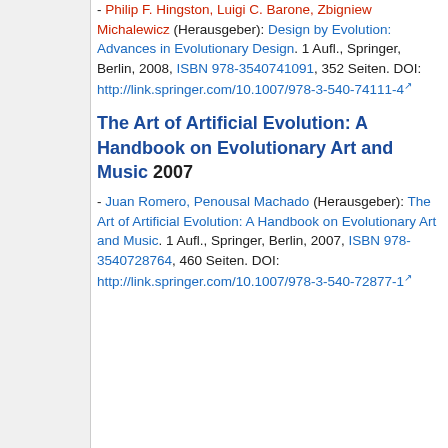- Philip F. Hingston, Luigi C. Barone, Zbigniew Michalewicz (Herausgeber): Design by Evolution: Advances in Evolutionary Design. 1 Aufl., Springer, Berlin, 2008, ISBN 978-3540741091, 352 Seiten. DOI: http://link.springer.com/10.1007/978-3-540-74111-4
The Art of Artificial Evolution: A Handbook on Evolutionary Art and Music 2007
- Juan Romero, Penousal Machado (Herausgeber): The Art of Artificial Evolution: A Handbook on Evolutionary Art and Music. 1 Aufl., Springer, Berlin, 2007, ISBN 978-3540728764, 460 Seiten. DOI: http://link.springer.com/10.1007/978-3-540-72877-1